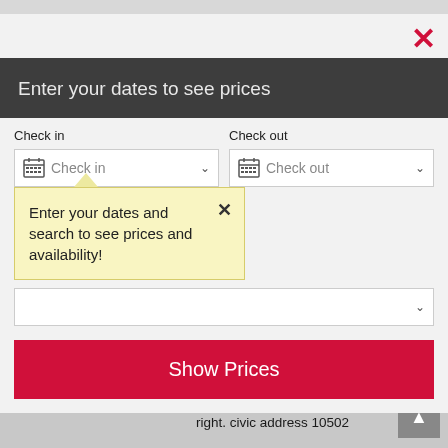[Figure (screenshot): Modal dialog for date selection on a hotel/accommodation booking website. Contains a dark header 'Enter your dates to see prices', check-in and check-out date picker fields, a tooltip with 'Enter your dates and search to see prices and availability!', a 'Show Prices' button, and a red close (X) button.]
Trail) (go 350 m, 0.2 miles) - Turn left onto Peggys Cove Rd/NS-333 S (signs for Tantallon/Light House Trail). (go 15 km, 9.3 miles) Destination will be on the right. civic address 10502